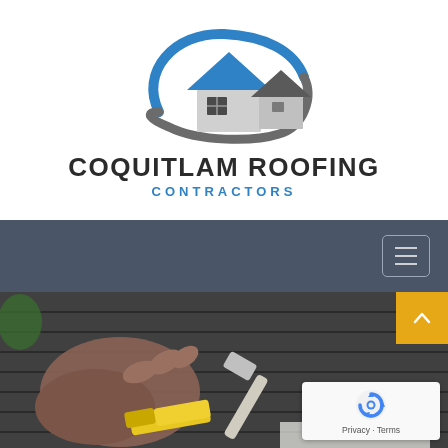[Figure (logo): Coquitlam Roofing Contractors logo: two house silhouettes with rooftop peaks in dark gray and blue, surrounded by a blue swoosh arc and a gray swoosh arc forming an oval shape]
COQUITLAM ROOFING
CONTRACTORS
[Figure (screenshot): Dark gray navigation bar with a hamburger menu icon button on the right side]
[Figure (photo): Close-up photo of a person's hand using a yellow roofing tool/stapler on dark asphalt shingles, with a hammer and other tools visible]
[Figure (other): Google reCAPTCHA badge with recycling-style arrows logo in blue, showing Privacy and Terms links]